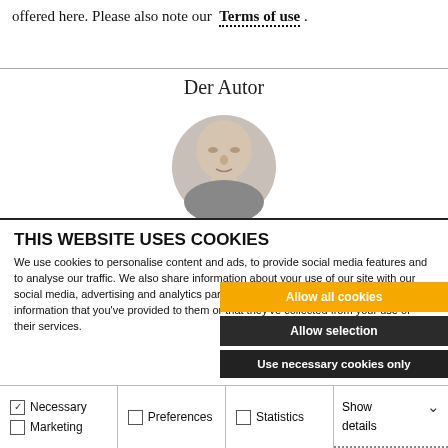offered here. Please also note our Terms of use .
Der Autor
[Figure (photo): Circular portrait photo of a bald man]
THIS WEBSITE USES COOKIES
We use cookies to personalise content and ads, to provide social media features and to analyse our traffic. We also share information about your use of our site with our social media, advertising and analytics partners who may combine it with other information that you've provided to them or that they've collected from your use of their services.
Allow all cookies
Allow selection
Use necessary cookies only
| Necessary | Preferences | Statistics | Show details |
| --- | --- | --- | --- |
| Marketing |  |  |  |